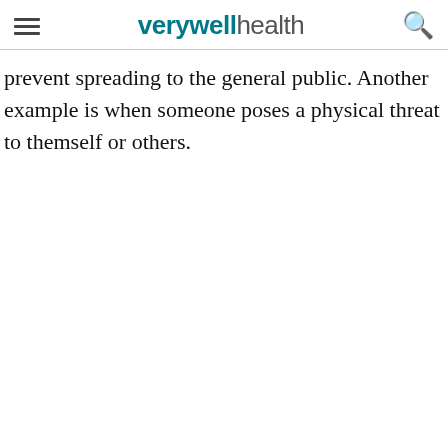verywell health
prevent spreading to the general public. Another example is when someone poses a physical threat to themself or others.